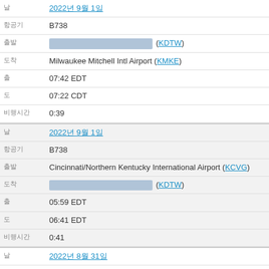| 날짜 | 2022년 9월 1일 |
| 항공기 | B738 |
| 출발지 | [한국어 텍스트] (KDTW) |
| 도착지 | Milwaukee Mitchell Intl Airport (KMKE) |
| 출발 | 07:42 EDT |
| 도착 | 07:22 CDT |
| 비행시간 | 0:39 |
| 날짜 | 2022년 9월 1일 |
| 항공기 | B738 |
| 출발지 | Cincinnati/Northern Kentucky International Airport (KCVG) |
| 도착지 | [한국어 텍스트] (KDTW) |
| 출발 | 05:59 EDT |
| 도착 | 06:41 EDT |
| 비행시간 | 0:41 |
| 날짜 | 2022년 8월 31일 |
| 항공기 | B738 |
| 출발지 | Milwaukee Mitchell Intl Airport (KMKE) |
| 도착지 | Cincinnati/Northern Kentucky International Airport (KCVG) |
| 출발 | 23:13 CDT |
| 도착 | 01:09 EDT (+1) |